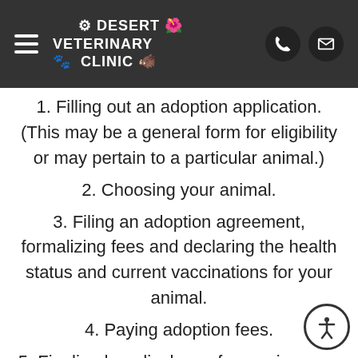Desert Veterinary Clinic
1. Filling out an adoption application. (This may be a general form for eligibility or may pertain to a particular animal.)
2. Choosing your animal.
3. Filing an adoption agreement, formalizing fees and declaring the health status and current vaccinations for your animal.
4. Paying adoption fees.
5. Finalized medical care for services n…